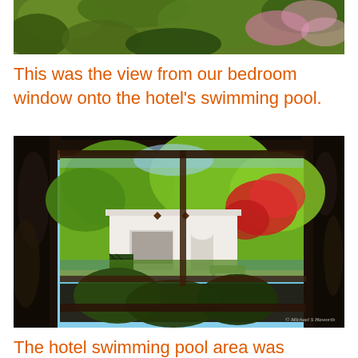[Figure (photo): Top portion of a garden/pool area photo showing lush green foliage and pink flowering plants]
This was the view from our bedroom window onto the hotel's swimming pool.
[Figure (photo): View through a bedroom window onto a hotel swimming pool area with white colonial-style building, lush green trees, red bougainvillea flowers, pool chairs, and blue swimming pool visible. Photo credit: © Michael S Haworth]
The hotel swimming pool area was peaceful and idyllic for